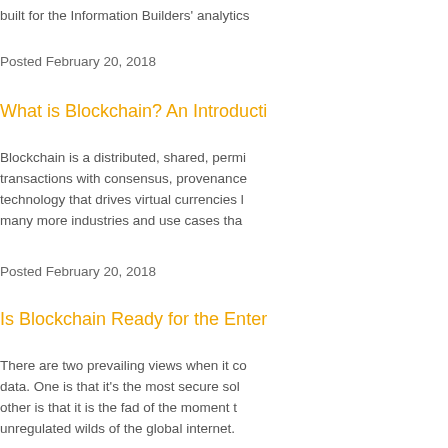built for the Information Builders' analytics
Posted February 20, 2018
What is Blockchain? An Introducti…
Blockchain is a distributed, shared, permi… transactions with consensus, provenance… technology that drives virtual currencies l… many more industries and use cases tha…
Posted February 20, 2018
Is Blockchain Ready for the Enter…
There are two prevailing views when it co… data. One is that it's the most secure sol… other is that it is the fad of the moment t… unregulated wilds of the global internet.